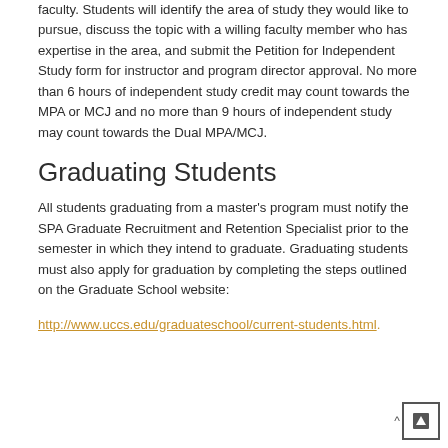faculty. Students will identify the area of study they would like to pursue, discuss the topic with a willing faculty member who has expertise in the area, and submit the Petition for Independent Study form for instructor and program director approval. No more than 6 hours of independent study credit may count towards the MPA or MCJ and no more than 9 hours of independent study may count towards the Dual MPA/MCJ.
Graduating Students
All students graduating from a master's program must notify the SPA Graduate Recruitment and Retention Specialist prior to the semester in which they intend to graduate. Graduating students must also apply for graduation by completing the steps outlined on the Graduate School website:
http://www.uccs.edu/graduateschool/current-students.html.